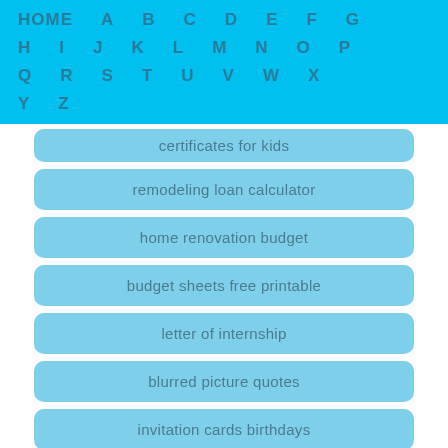HOME A B C D E F G H I J K L M N O P Q R S T U V W X Y Z
certificates for kids
remodeling loan calculator
home renovation budget
budget sheets free printable
letter of internship
blurred picture quotes
invitation cards birthdays